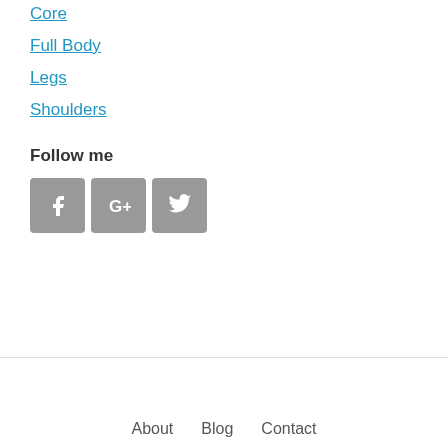Core
Full Body
Legs
Shoulders
Follow me
[Figure (illustration): Social media icons: Facebook, Google+, Twitter as grey square buttons]
About   Blog   Contact